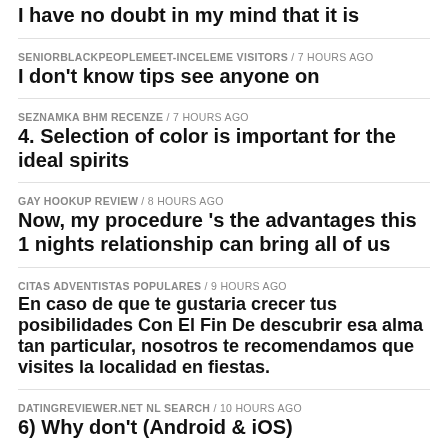I have no doubt in my mind that it is
SENIORBLACKPEOPLEMEET-INCELEME VISITORS / 7 hours ago
I don't know tips see anyone on
SEZNAMKA BHM RECENZE / 7 hours ago
4. Selection of color is important for the ideal spirits
GAY HOOKUP REVIEW / 8 hours ago
Now, my procedure 's the advantages this 1 nights relationship can bring all of us
CITAS ADVENTISTAS POPULARES / 9 hours ago
En caso de que te gustaria crecer tus posibilidades Con El Fin De descubrir esa alma tan particular, nosotros te recomendamos que visites la localidad en fiestas.
DATINGREVIEWER.NET NL SEARCH / 10 hours ago
6) Why don't (Android & iOS)
INSTANT DECISION PAYDAY LOANS / 10 hours ago
Payday loan business was publish individuals to your own tailspin. How that girl bankrupt free
DIRECT PAYDAY LOANS / 1 day ago
I'm going as a consequence of We do not should